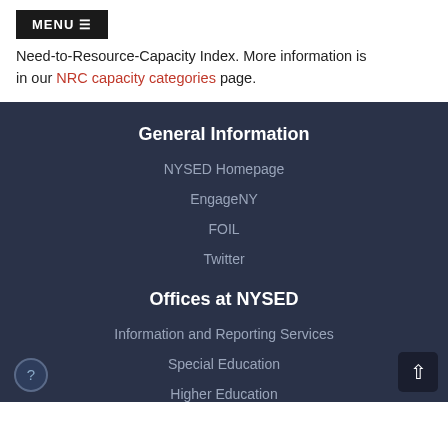Need-to-Resource-Capacity Index. More information is in our NRC capacity categories page.
General Information
NYSED Homepage
EngageNY
FOIL
Twitter
Offices at NYSED
Information and Reporting Services
Special Education
Higher Education